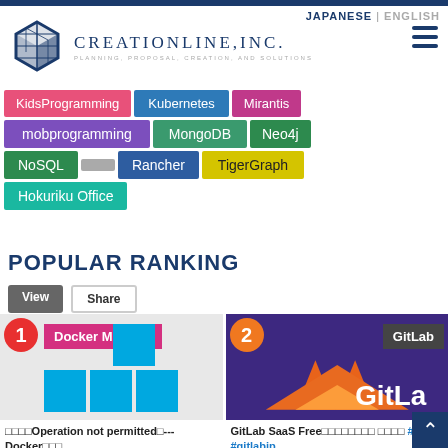Creationline Inc. website header
JAPANESE | ENGLISH
[Figure (logo): Creationline Inc. logo with cube icon and text CREATIONLINE,INC. PLANNING, PROPOSAL, CREATION, AND SOLUTIONS]
KidsProgramming
Kubernetes
Mirantis
mobprogramming
MongoDB
Neo4j
NoSQL
Rancher
TigerGraph
Hokuriku Office
POPULAR RANKING
View   Share
[Figure (screenshot): Rank 1 article card with Docker Mirantis tag. Shows Docker logo blocks on grey background. Title: Operation not permitted---Docker Seccomp]
[Figure (screenshot): Rank 2 article card with GitLab tag. Shows GitLab logo on purple background. Title: GitLab SaaS Free #gitlab #gitlabjp 2022.04.07]